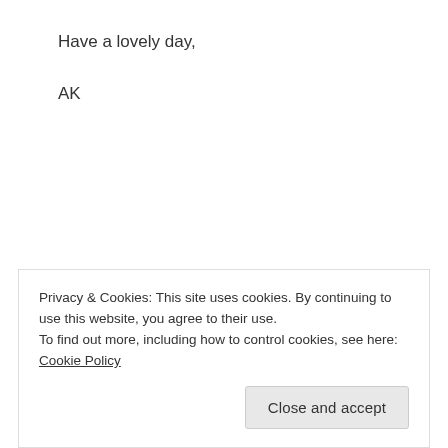Have a lovely day,
AK
Share this:
Privacy & Cookies: This site uses cookies. By continuing to use this website, you agree to their use.
To find out more, including how to control cookies, see here: Cookie Policy
Close and accept